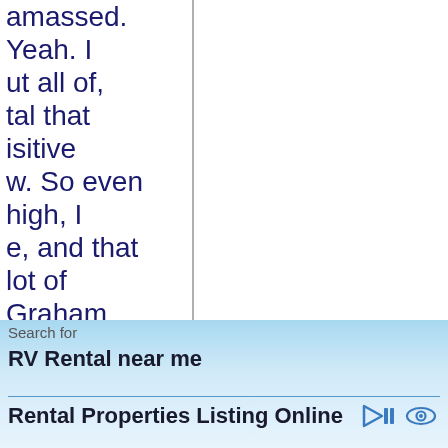amassed. Yeah. I ut all of, tal that isitive w. So even high, I e, and that lot of Graham ce of u find Rock . No. Back ford, d retain York City, rk and in ord. And so lable and
Search for
RV Rental near me
Rental Properties Listing Online